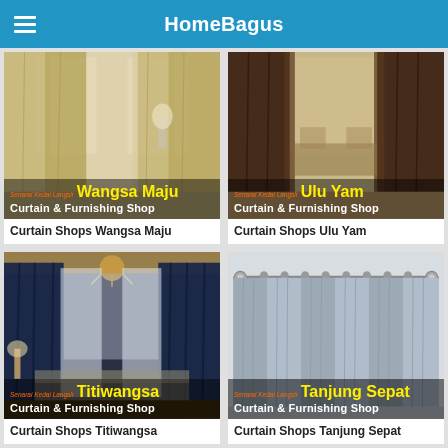HomeBagus
[Figure (photo): Beige/tan curtains in a living room with text overlay: Senarai Kedai Langsir Wangsa Maju Curtain & Furnishing Shop]
Curtain Shops Wangsa Maju
[Figure (photo): Dark brown curtains in a room with text overlay: Senarai Kedai Langsir Ulu Yam Curtain & Furnishing Shop]
Curtain Shops Ulu Yam
[Figure (photo): Dark navy curtains in a living room with chandelier and text overlay: Senarai Kedai Langsir Titiwangsa Curtain & Furnishing Shop]
Curtain Shops Titiwangsa
[Figure (photo): Grey/silver curtains with curtain rod hardware and text overlay: Senarai Kedai Langsir Tanjung Sepat Curtain & Furnishing Shop]
Curtain Shops Tanjung Sepat